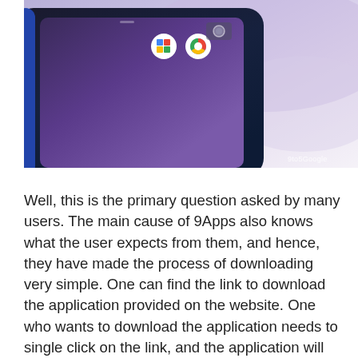[Figure (photo): Close-up photo of an Android smartphone (dark blue/black device) showing the screen with app icons including a Google apps icon and Chrome icon, with a purple/lavender background. Watermark '9to5Google' visible in bottom right corner.]
Well, this is the primary question asked by many users. The main cause of 9Apps also knows what the user expects from them, and hence, they have made the process of downloading very simple. One can find the link to download the application provided on the website. One who wants to download the application needs to single click on the link, and the application will be downloaded to the device. To download the application does not need any technical knowledge. After downloading the application, the next step is the installation of the same. Here also one does not need to worry as the application is able to install itself. Installation but before using the application, it